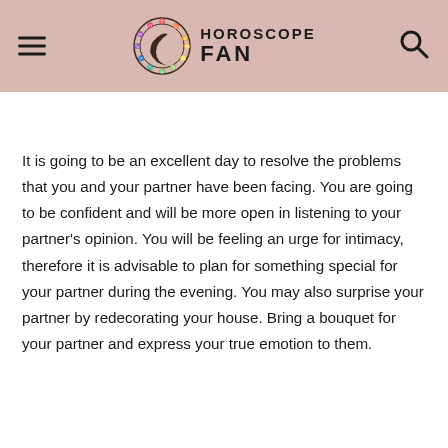HOROSCOPE FAN
It is going to be an excellent day to resolve the problems that you and your partner have been facing. You are going to be confident and will be more open in listening to your partner's opinion. You will be feeling an urge for intimacy, therefore it is advisable to plan for something special for your partner during the evening. You may also surprise your partner by redecorating your house. Bring a bouquet for your partner and express your true emotion to them.